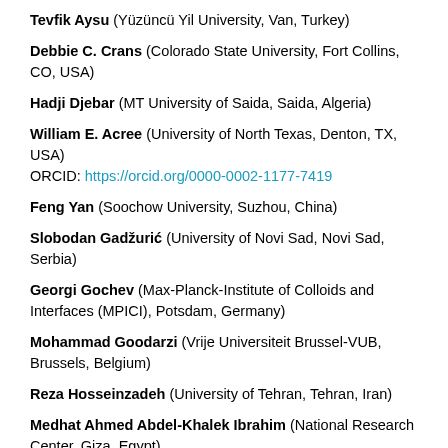Tevfik Aysu (Yüzüncü Yil University, Van, Turkey)
Debbie C. Crans (Colorado State University, Fort Collins, CO, USA)
Hadji Djebar (MT University of Saida, Saida, Algeria)
William E. Acree (University of North Texas, Denton, TX, USA) ORCID: https://orcid.org/0000-0002-1177-7419
Feng Yan (Soochow University, Suzhou, China)
Slobodan Gadžurić (University of Novi Sad, Novi Sad, Serbia)
Georgi Gochev (Max-Planck-Institute of Colloids and Interfaces (MPICI), Potsdam, Germany)
Mohammad Goodarzi (Vrije Universiteit Brussel-VUB, Brussels, Belgium)
Reza Hosseinzadeh (University of Tehran, Tehran, Iran)
Medhat Ahmed Abdel-Khalek Ibrahim (National Research Center, Giza, Egypt)
A. Ghasem Jouyban (Tabriz University of Medical Sciences,